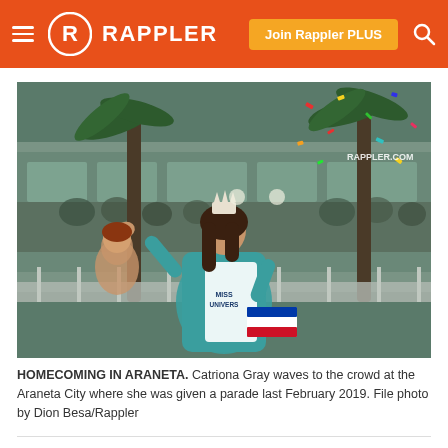RAPPLER — Join Rappler PLUS
[Figure (photo): Catriona Gray in a teal gown and Miss Universe sash and crown, waving to the crowd at Araneta City during a parade, with confetti in the air and spectators in the background. Watermark reads RAPPLER.COM.]
HOMECOMING IN ARANETA. Catriona Gray waves to the crowd at the Araneta City where she was given a parade last February 2019. File photo by Dion Besa/Rappler